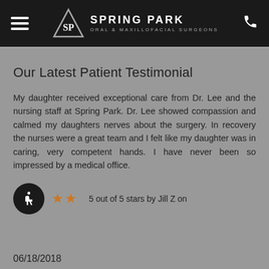[Figure (logo): Spring Park Oral & Maxillofacial Surgeons logo with triangle SP monogram on dark header bar with hamburger menu and phone icon]
Our Latest Patient Testimonial
My daughter received exceptional care from Dr. Lee and the nursing staff at Spring Park. Dr. Lee showed compassion and calmed my daughters nerves about the surgery. In recovery the nurses were a great team and I felt like my daughter was in caring, very competent hands. I have never been so impressed by a medical office.
5 out of 5 stars by Jill Z on
06/18/2018